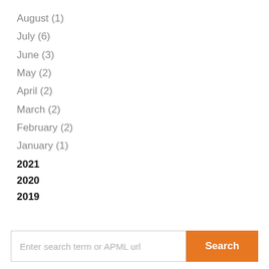August (1)
July (6)
June (3)
May (2)
April (2)
March (2)
February (2)
January (1)
2021
2020
2019
Enter search term or APML url